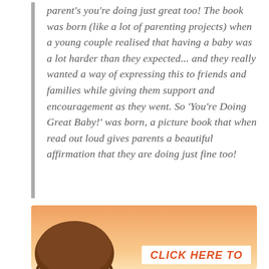parent's you're doing just great too! The book was born (like a lot of parenting projects) when a young couple realised that having a baby was a lot harder than they expected... and they really wanted a way of expressing this to friends and families while giving them support and encouragement as they went. So 'You're Doing Great Baby!' was born, a picture book that when read out loud gives parents a beautiful affirmation that they are doing just fine too!
[Figure (illustration): Illustrated image showing the top of a person's head with brown hair at bottom left, on a warm orange/peach gradient background. In the lower right is a white banner with orange bold italic text reading 'CLICK HERE TO']